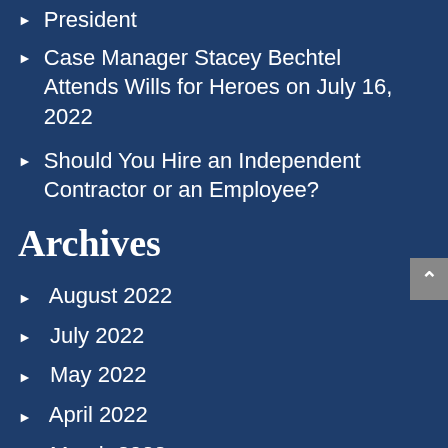President
Case Manager Stacey Bechtel Attends Wills for Heroes on July 16, 2022
Should You Hire an Independent Contractor or an Employee?
Archives
August 2022
July 2022
May 2022
April 2022
March 2022